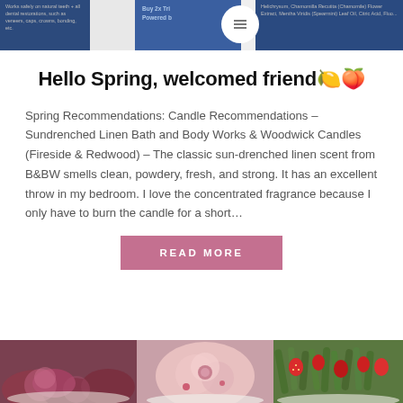[Figure (photo): Top banner showing product packaging panels in blue tones with text about dental/body products, and a circular logo in the center]
Hello Spring, welcomed friend🍋🍑
Spring Recommendations: Candle Recommendations – Sundrenched Linen Bath and Body Works & Woodwick Candles (Fireside & Redwood) – The classic sun-drenched linen scent from B&BW smells clean, powdery, fresh, and strong. It has an excellent throw in my bedroom. I love the concentrated fragrance because I only have to burn the candle for a short…
READ MORE
[Figure (photo): Bottom strip showing floral/food arrangements: rose-shaped butter or food items on the left in dark pink/maroon, pink roses in the center, and green vegetables with red strawberries on the right]